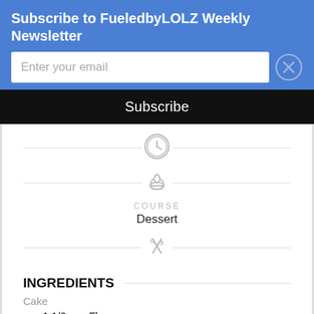Subscribe to FueledbyLOLZ Weekly Newsletter
Enter your email
Subscribe
[Figure (illustration): Clock/timer icon (gray circle with clock face)]
[Figure (illustration): Chef hat icon (gray)]
COURSE
Dessert
[Figure (illustration): Crossed fork and knife icon (gray)]
INGREDIENTS
Cake
1 1/2 cup Flour
1 1/2 tsp Baking Powder
1 tsp salt
5 large Eggs (separated)